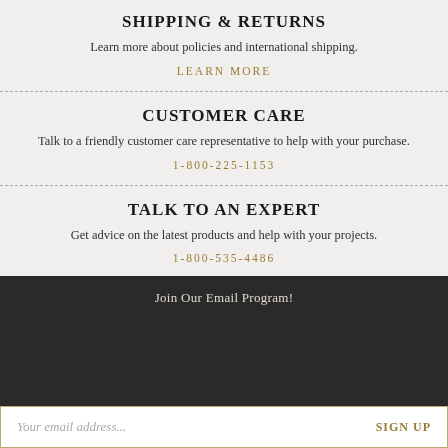SHIPPING & RETURNS
Learn more about policies and international shipping.
LEARN MORE
CUSTOMER CARE
Talk to a friendly customer care representative to help with your purchase.
1-800-225-1153
TALK TO AN EXPERT
Get advice on the latest products and help with your projects.
1-800-535-4486
Join Our Email Program!
Your email address...
SIGN UP